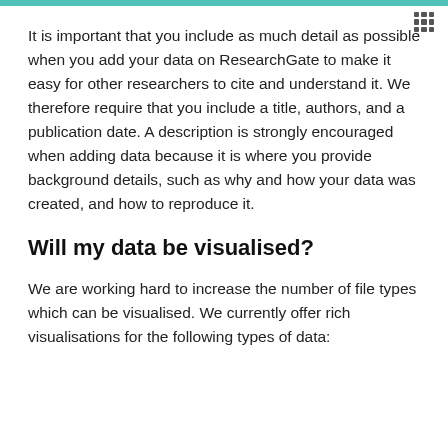It is important that you include as much detail as possible when you add your data on ResearchGate to make it easy for other researchers to cite and understand it. We therefore require that you include a title, authors, and a publication date. A description is strongly encouraged when adding data because it is where you provide background details, such as why and how your data was created, and how to reproduce it.
Will my data be visualised?
We are working hard to increase the number of file types which can be visualised. We currently offer rich visualisations for the following types of data: